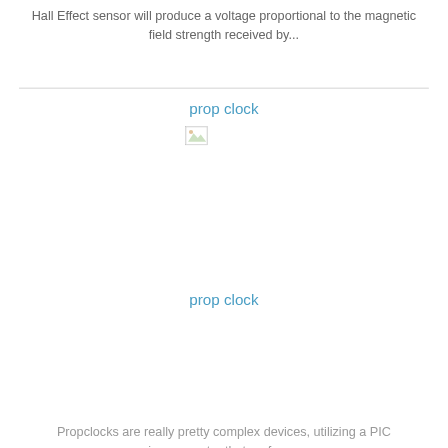Hall Effect sensor will produce a voltage proportional to the magnetic field strength received by...
prop clock
[Figure (photo): Broken image placeholder for prop clock]
prop clock
Propclocks are really pretty complex devices, utilizing a PIC microcomputer that performs...
Dual 25W stereo audio power amplifier circuit
This website uses cookies to ensure you get the best experience on our website. Learn more
Got it!
[Figure (schematic): Bottom portion of a dual 25W stereo audio power amplifier circuit schematic showing connections labeled TO LEFT AMP, 0.15, and IN4001]